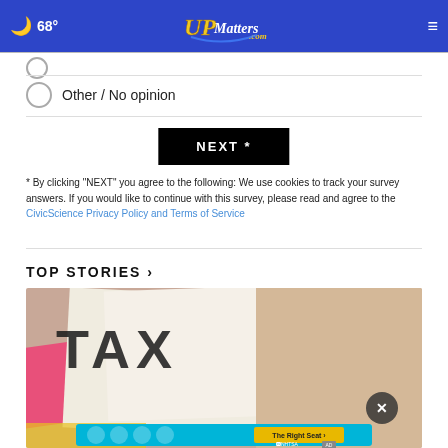68° UPMatters.com
Other / No opinion
NEXT *
* By clicking "NEXT" you agree to the following: We use cookies to track your survey answers. If you would like to continue with this survey, please read and agree to the CivicScience Privacy Policy and Terms of Service
TOP STORIES ›
[Figure (photo): Close-up photo of tax documents with text TAX visible, showing pink and beige colored papers]